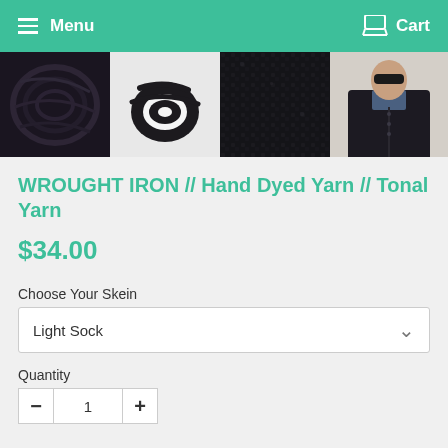Menu   Cart
[Figure (photo): Four thumbnail images of dark/black yarn skeins and a knitted cardigan worn by a man]
WROUGHT IRON // Hand Dyed Yarn // Tonal Yarn
$34.00
Choose Your Skein
Light Sock
Quantity
- 1 +